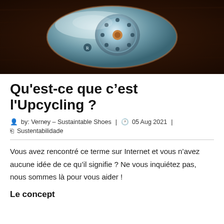[Figure (photo): A retro-style blue metallic rotary telephone sitting on a dark wooden surface, viewed from above.]
Qu'est-ce que c'est l'Upcycling ?
by: Verney – Sustaintable Shoes  |  05 Aug 2021  |  Sustentabilidade
Vous avez rencontré ce terme sur Internet et vous n'avez aucune idée de ce qu'il signifie ? Ne vous inquiétez pas, nous sommes là pour vous aider !
Le concept